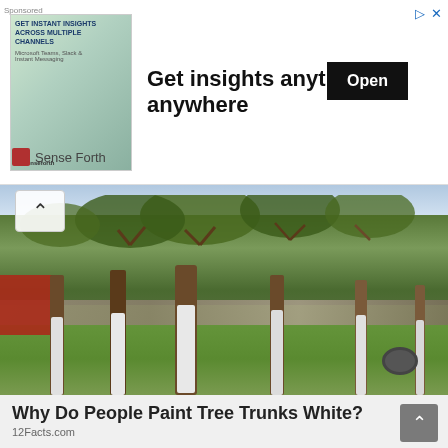[Figure (screenshot): Advertisement banner: 'Get insights anytime, anywhere' with Open button and Sense Forth branding]
[Figure (photo): Outdoor photo of orchard trees with white-painted trunks standing on green grass, with a stone wall and fence in the background]
Why Do People Paint Tree Trunks White?
12Facts.com